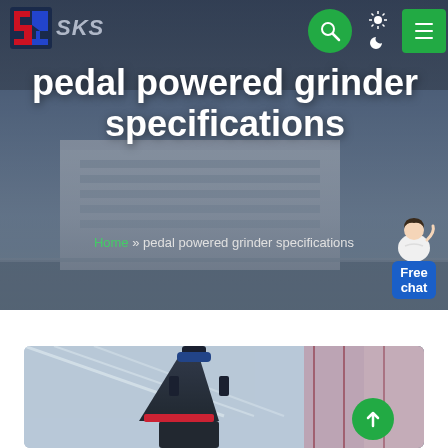[Figure (screenshot): SKS company website header with logo, navigation icons (search, theme toggle, menu), hero banner showing 'pedal powered grinder specifications' title over a factory building background image, breadcrumb navigation, chat widget with customer service representative, and a product photo of an industrial grinder machine inside a warehouse]
pedal powered grinder specifications
Home » pedal powered grinder specifications